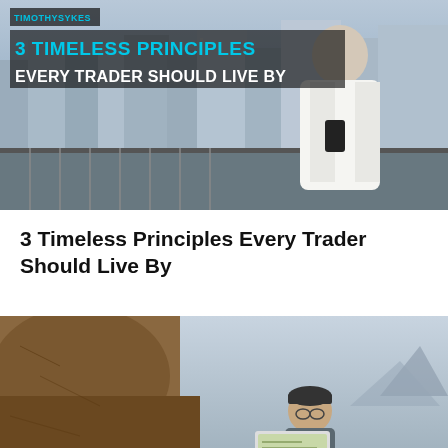[Figure (photo): Timothy Sykes standing on a balcony in a white bathrobe holding a phone, city skyline with modern buildings in background. Text overlay: 'TIMOTHYSYKES', '3 TIMELESS PRINCIPLES EVERY TRADER SHOULD LIVE BY']
3 Timeless Principles Every Trader Should Live By
[Figure (photo): Person in a cap sitting outdoors with a laptop, rocky terrain in background and cloudy sky]